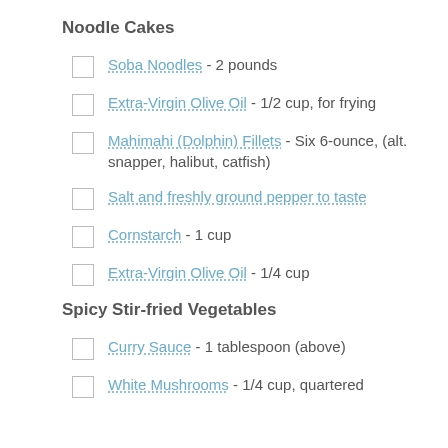Noodle Cakes
Soba Noodles - 2 pounds
Extra-Virgin Olive Oil - 1/2 cup, for frying
Mahimahi (Dolphin) Fillets - Six 6-ounce, (alt. snapper, halibut, catfish)
Salt and freshly ground pepper to taste
Cornstarch - 1 cup
Extra-Virgin Olive Oil - 1/4 cup
Spicy Stir-fried Vegetables
Curry Sauce - 1 tablespoon (above)
White Mushrooms - 1/4 cup, quartered